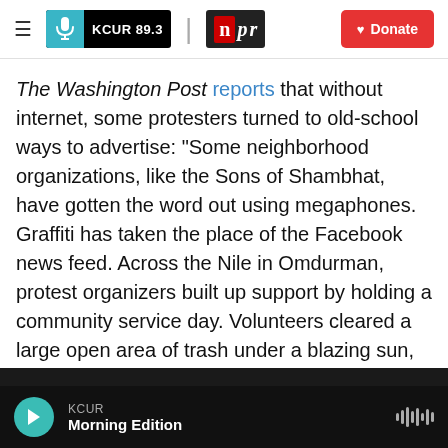KCUR 89.3 | npr | Donate
The Washington Post reports that without internet, some protesters turned to old-school ways to advertise: "Some neighborhood organizations, like the Sons of Shambhat, have gotten the word out using megaphones. Graffiti has taken the place of the Facebook news feed. Across the Nile in Omdurman, protest organizers built up support by holding a community service day. Volunteers cleared a large open area of trash under a blazing sun, wearing bandannas that said: 'We will build what we are dreaming of.' "
KCUR Morning Edition